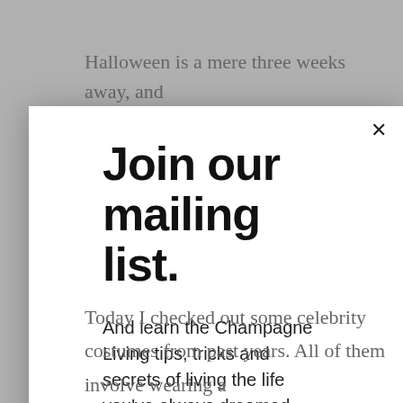Halloween is a mere three weeks away, and
Join our mailing list.
And learn the Champagne Living tips, tricks and secrets of living the life you've always dreamed of...NOW!
Email address
Subscribe
Today I checked out some celebrity costumes from past years. All of them involve wearing a